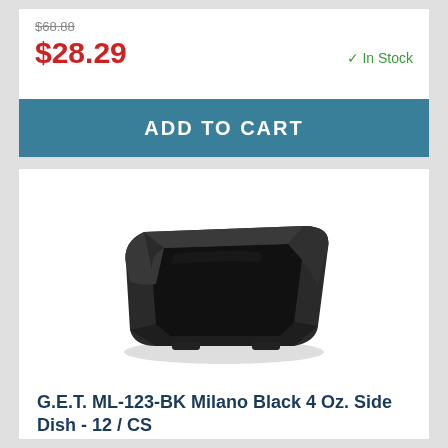$68.88 (strikethrough original price)
$28.29
✓ In Stock
ADD TO CART
[Figure (photo): Black rectangular Milano side dish/bowl viewed from a slight angle above, showing the interior depth and wide flat rim, on a white background.]
G.E.T. ML-123-BK Milano Black 4 Oz. Side Dish - 12 / CS
Item #: 240687
Model #: ML-123-BK